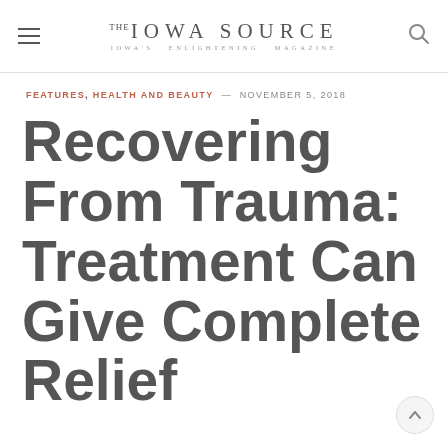The Iowa Source — Iowa's Enlightening Magazine
FEATURES, HEALTH AND BEAUTY — NOVEMBER 5, 2018
Recovering From Trauma: Treatment Can Give Complete Relief